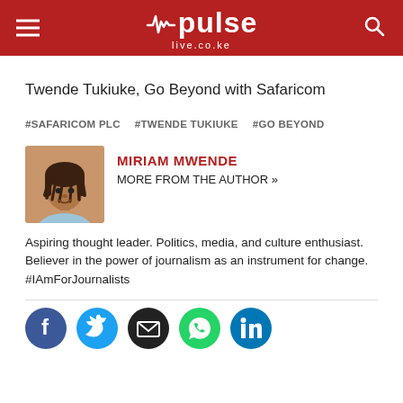pulse live.co.ke
Twende Tukiuke, Go Beyond with Safaricom
#SAFARICOM PLC   #TWENDE TUKIUKE   #GO BEYOND
[Figure (photo): Author photo of Miriam Mwende]
MIRIAM MWENDE
MORE FROM THE AUTHOR »
Aspiring thought leader. Politics, media, and culture enthusiast. Believer in the power of journalism as an instrument for change. #IAmForJournalists
[Figure (infographic): Social media sharing icons: Facebook, Twitter, Email, WhatsApp, LinkedIn]